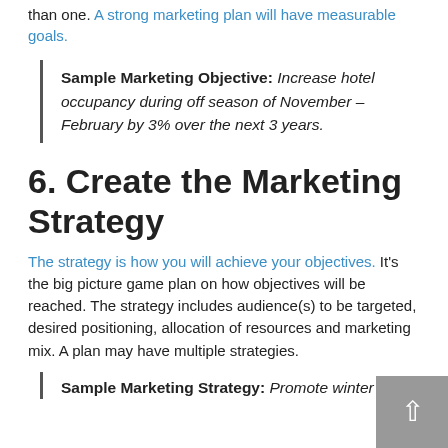than one. A strong marketing plan will have measurable goals.
Sample Marketing Objective: Increase hotel occupancy during off season of November – February by 3% over the next 3 years.
6. Create the Marketing Strategy
The strategy is how you will achieve your objectives. It's the big picture game plan on how objectives will be reached. The strategy includes audience(s) to be targeted, desired positioning, allocation of resources and marketing mix. A plan may have multiple strategies.
Sample Marketing Strategy: Promote winter